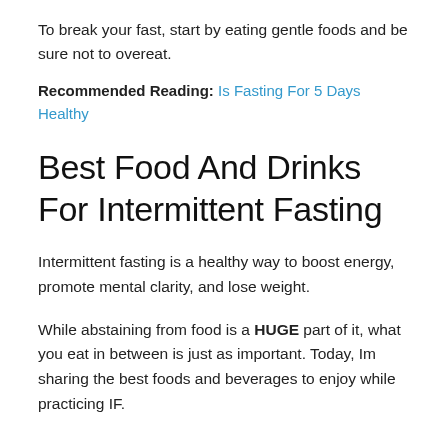To break your fast, start by eating gentle foods and be sure not to overeat.
Recommended Reading: Is Fasting For 5 Days Healthy
Best Food And Drinks For Intermittent Fasting
Intermittent fasting is a healthy way to boost energy, promote mental clarity, and lose weight.
While abstaining from food is a HUGE part of it, what you eat in between is just as important. Today, Im sharing the best foods and beverages to enjoy while practicing IF.